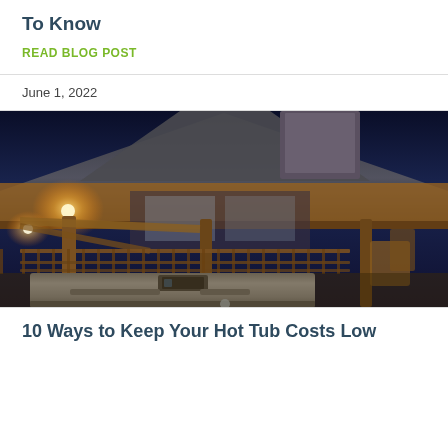To Know
READ BLOG POST
June 1, 2022
[Figure (photo): Nighttime outdoor hot tub scene under a wooden gazebo/pavilion structure with warm lighting, railing visible, hot tub in foreground with dark sky background]
10 Ways to Keep Your Hot Tub Costs Low